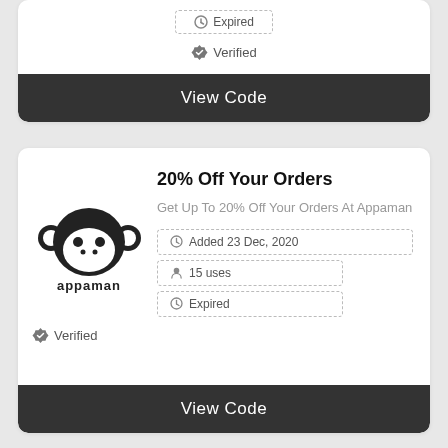[Figure (other): Partial coupon card showing Expired dashed badge, Verified badge, and View Code button]
[Figure (logo): Appaman monkey logo]
20% Off Your Orders
Get Up To 20% Off Your Orders At Appaman
Added 23 Dec, 2020
15 uses
Expired
Verified
View Code